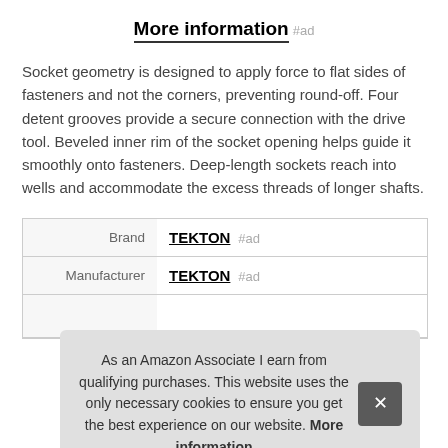More information #ad
Socket geometry is designed to apply force to flat sides of fasteners and not the corners, preventing round-off. Four detent grooves provide a secure connection with the drive tool. Beveled inner rim of the socket opening helps guide it smoothly onto fasteners. Deep-length sockets reach into wells and accommodate the excess threads of longer shafts.
|  |  |
| --- | --- |
| Brand | TEKTON #ad |
| Manufacturer | TEKTON #ad |
As an Amazon Associate I earn from qualifying purchases. This website uses the only necessary cookies to ensure you get the best experience on our website. More information